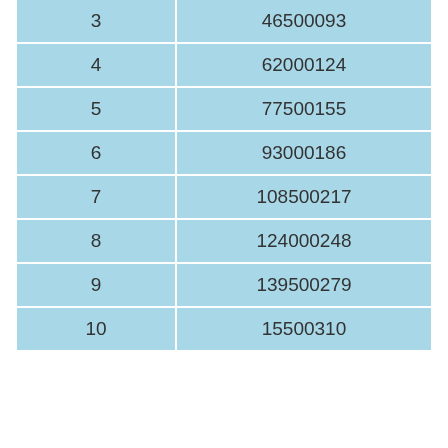| 3 | 46500093 |
| 4 | 62000124 |
| 5 | 77500155 |
| 6 | 93000186 |
| 7 | 108500217 |
| 8 | 124000248 |
| 9 | 139500279 |
| 10 | 15500310 |